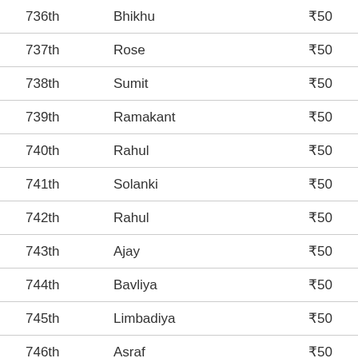| Rank | Name | Prize |
| --- | --- | --- |
| 736th | Bhikhu | ₹50 |
| 737th | Rose | ₹50 |
| 738th | Sumit | ₹50 |
| 739th | Ramakant | ₹50 |
| 740th | Rahul | ₹50 |
| 741th | Solanki | ₹50 |
| 742th | Rahul | ₹50 |
| 743th | Ajay | ₹50 |
| 744th | Bavliya | ₹50 |
| 745th | Limbadiya | ₹50 |
| 746th | Asraf | ₹50 |
| 747th | Bambhaniya | ₹50 |